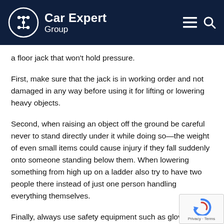Car Expert Group
a floor jack that won't hold pressure.
First, make sure that the jack is in working order and not damaged in any way before using it for lifting or lowering heavy objects.
Second, when raising an object off the ground be careful never to stand directly under it while doing so—the weight of even small items could cause injury if they fall suddenly onto someone standing below them. When lowering something from high up on a ladder also try to have two people there instead of just one person handling everything themselves.
Finally, always use safety equipment such as gloves and